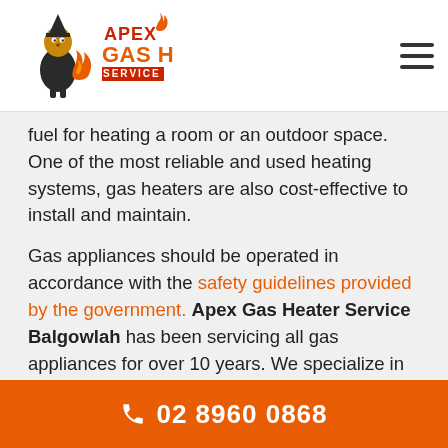[Figure (logo): Apex Gas Heater Service logo with mascot character holding flame]
fuel for heating a room or an outdoor space. One of the most reliable and used heating systems, gas heaters are also cost-effective to install and maintain.
Gas appliances should be operated in accordance with the safety guidelines provided by the government. Apex Gas Heater Service Balgowlah has been servicing all gas appliances for over 10 years. We specialize in mobile Gas Heater services in Balgowlah.
A malfunctioning gas heater could pose a safety and health hazard. Apex Gas Heater service has a team of licensed gas fitters that can assist with repairs or
02 8960 0868